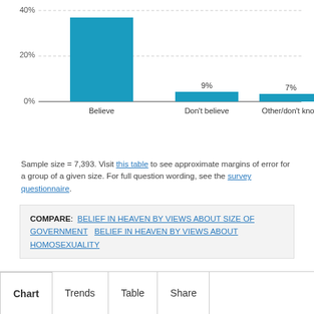[Figure (bar-chart): Belief in Heaven]
Sample size = 7,393. Visit this table to see approximate margins of error for a group of a given size. For full question wording, see the survey questionnaire.
COMPARE: BELIEF IN HEAVEN BY VIEWS ABOUT SIZE OF GOVERNMENT   BELIEF IN HEAVEN BY VIEWS ABOUT HOMOSEXUALITY
Chart   Trends   Table   Share